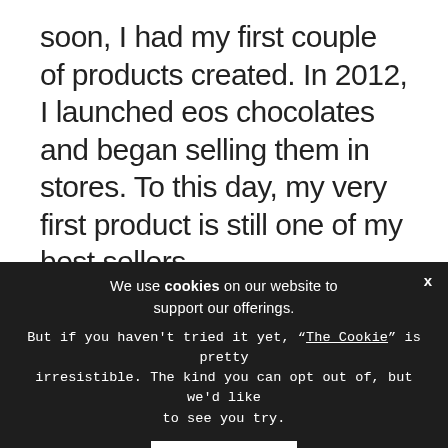soon, I had my first couple of products created. In 2012, I launched eos chocolates and began selling them in stores. To this day, my very first product is still one of my best sellers.
02. What did like f
We use cookies on our website to support our offerings.

But if you haven't tried it yet, "The Cookie" is pretty irresistible. The kind you can opt out of, but we'd like to see you try.

[ACCEPT]